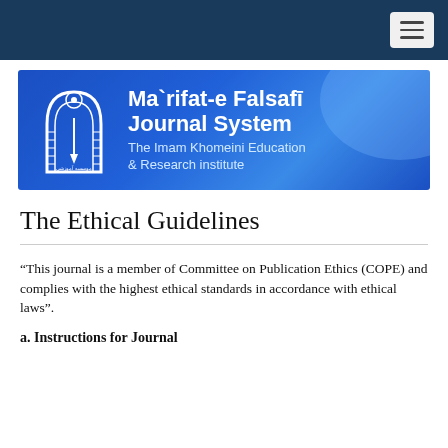[Figure (logo): Ma'rifat-e Falsafi Journal System banner with The Imam Khomeini Education & Research institute logo on blue background]
The Ethical Guidelines
“This journal is a member of Committee on Publication Ethics (COPE) and complies with the highest ethical standards in accordance with ethical laws”.
a. Instructions for Journal